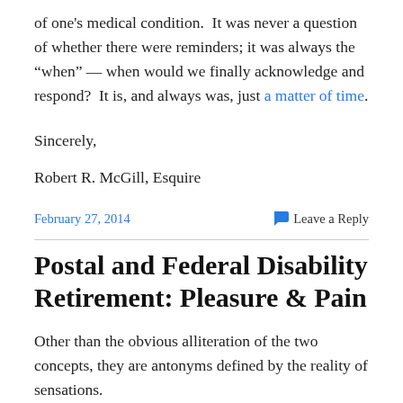of one's medical condition.  It was never a question of whether there were reminders; it was always the “when” — when would we finally acknowledge and respond?  It is, and always was, just a matter of time.
Sincerely,
Robert R. McGill, Esquire
February 27, 2014    💬 Leave a Reply
Postal and Federal Disability Retirement: Pleasure & Pain
Other than the obvious alliteration of the two concepts, they are antonyms defined by the reality of sensations.